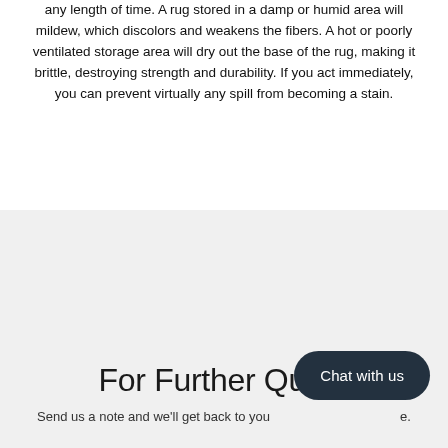any length of time. A rug stored in a damp or humid area will mildew, which discolors and weakens the fibers. A hot or poorly ventilated storage area will dry out the base of the rug, making it brittle, destroying strength and durability. If you act immediately, you can prevent virtually any spill from becoming a stain.
For Further Query
Send us a note and we'll get back to you                                                e.